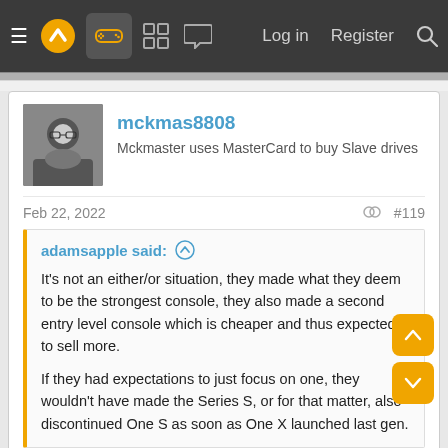Navigation bar with hamburger menu, logo, game controller icon, grid icon, chat icon, Log in, Register, Search
mckmas8808
Mckmaster uses MasterCard to buy Slave drives
Feb 22, 2022  #119
adamsapple said: ↑

It's not an either/or situation, they made what they deem to be the strongest console, they also made a second entry level console which is cheaper and thus expected to sell more.

If they had expectations to just focus on one, they wouldn't have made the Series S, or for that matter, also discontinued One S as soon as One X launched last gen.
In this specific situation I'm ONLY talking about the marketing teams within Xbox. Ultimately you're right that MS doesn't actually care which console someone buys. They've made